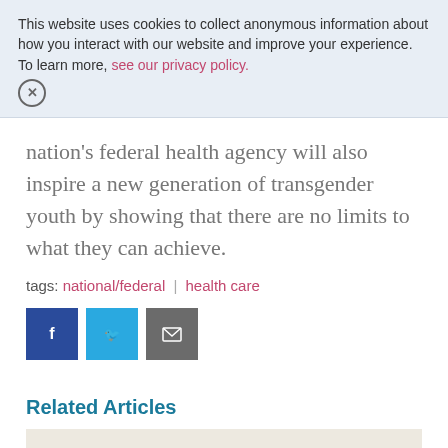This website uses cookies to collect anonymous information about how you interact with our website and improve your experience. To learn more, see our privacy policy.
nation's federal health agency will also inspire a new generation of transgender youth by showing that there are no limits to what they can achieve.
tags: national/federal | health care
[Figure (infographic): Social share buttons: Facebook (dark blue), Twitter (light blue), Email (grey)]
Related Articles
Alabama Court: Don't Criminalize Us for Helping Our Kids
by GLAD